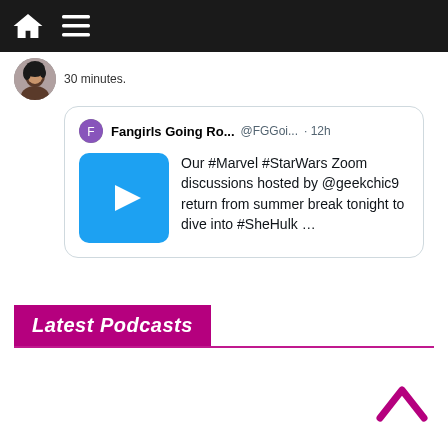Navigation bar with home and menu icons
30 minutes.
Fangirls Going Ro... @FGGoi... · 12h
Our #Marvel #StarWars Zoom discussions hosted by @geekchic9 return from summer break tonight to dive into #SheHulk …
Latest Podcasts
[Figure (other): Back to top chevron arrow icon]